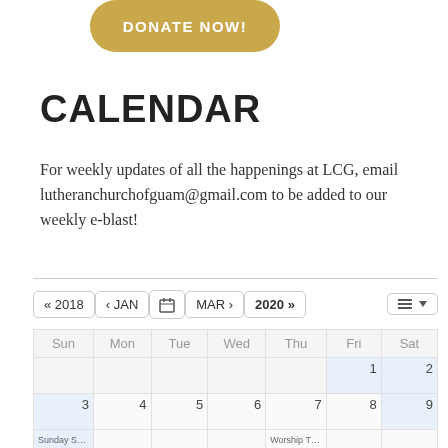[Figure (other): Gold/tan rounded button with text DONATE NOW!]
CALENDAR
For weekly updates of all the happenings at LCG, email lutheranchurchofguam@gmail.com to be added to our weekly e-blast!
[Figure (screenshot): Calendar navigation bar with buttons: « 2018, < JAN, calendar icon, MAR >, 2020 », and a list view toggle button on the right]
| Sun | Mon | Tue | Wed | Thu | Fri | Sat |
| --- | --- | --- | --- | --- | --- | --- |
|  |  |  |  |  | 1 | 2 |
| 3 | 4 | 5 | 6 | 7 | 8 | 9 |
|  |  |  |  | Worship T |  |  |